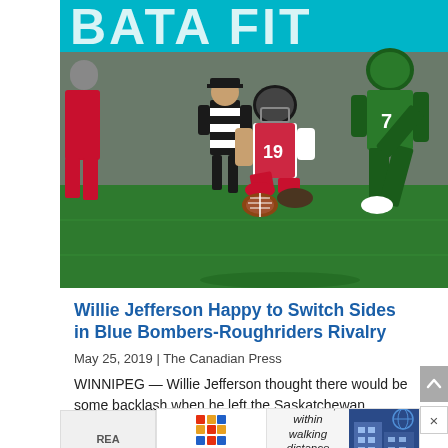[Figure (photo): CFL football game action photo showing a player in red and white Calgary Stampeders uniform #19 on his knees on the field holding a football, with a referee in black and white stripes behind him, and a Saskatchewan Roughriders player #7 in green jersey in the background. Teal 'BATA FIT' banner visible at top of stadium.]
Willie Jefferson Happy to Switch Sides in Blue Bombers-Roughriders Rivalry
May 25, 2019 | The Canadian Press
WINNIPEG — Willie Jefferson thought there would be some backlash when he left the Saskatchewan Roughriders for the rival Winnipeg Blue Bombers.
[Figure (photo): Tudor Apartments advertisement banner: 'Your world, within walking distance' with Register Today button and building photo]